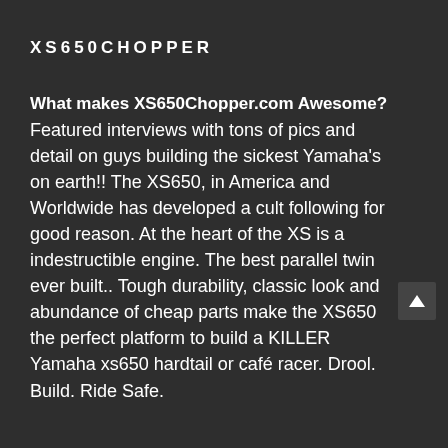XS650CHOPPER
What makes XS650Chopper.com Awesome? Featured interviews with tons of pics and detail on guys building the sickest Yamaha's on earth!! The XS650, in America and Worldwide has developed a cult following for good reason. At the heart of the XS is a indestructible engine. The best parallel twin ever built.. Tough durability, classic look and abundance of cheap parts make the XS650 the perfect platform to build a KILLER Yamaha xs650 hardtail or café racer. Drool. Build. Ride Safe.